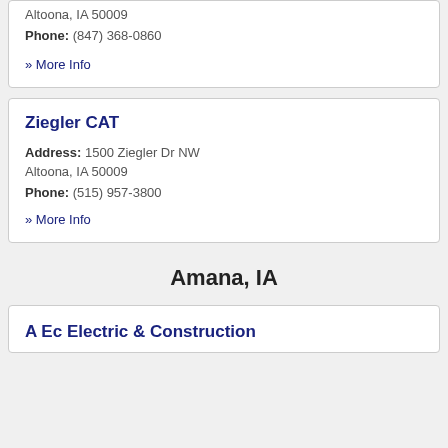Altoona, IA 50009
Phone: (847) 368-0860
» More Info
Ziegler CAT
Address: 1500 Ziegler Dr NW Altoona, IA 50009
Phone: (515) 957-3800
» More Info
Amana, IA
A Ec Electric & Construction